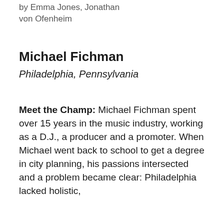by Emma Jones, Jonathan von Ofenheim
Michael Fichman
Philadelphia, Pennsylvania
Meet the Champ: Michael Fichman spent over 15 years in the music industry, working as a D.J., a producer and a promoter. When Michael went back to school to get a degree in city planning, his passions intersected and a problem became clear: Philadelphia lacked holistic,